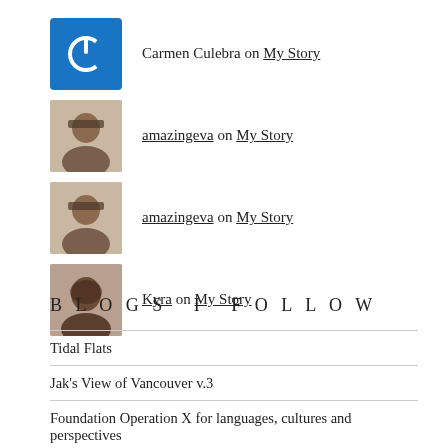Carmen Culebra on My Story
amazingeva on My Story
amazingeva on My Story
Kyra on My Story
BLOGS I FOLLOW
Tidal Flats
Jak's View of Vancouver v.3
Foundation Operation X for languages, cultures and perspectives